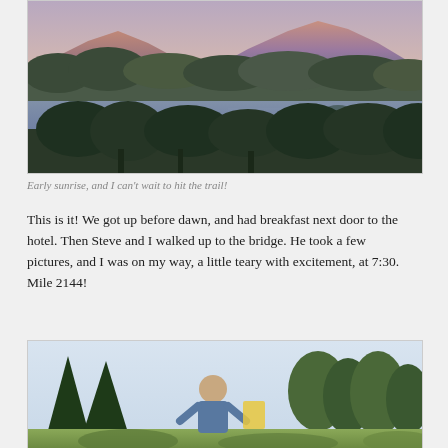[Figure (photo): Landscape photo of a mountain lake at early sunrise with pink-lit mountain peaks, forested hillsides, a calm lake, and trees in the foreground]
Early sunrise, and I can't wait to hit the trail!
This is it! We got up before dawn, and had breakfast next door to the hotel. Then Steve and I walked up to the bridge. He took a few pictures, and I was on my way, a little teary with excitement, at 7:30. Mile 2144!
[Figure (photo): Person standing outdoors among trees and vegetation, likely at a trailhead or campsite, with pine trees and open sky in the background]